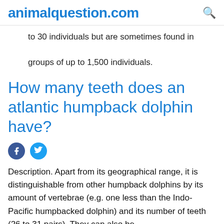animalquestion.com
to 30 individuals but are sometimes found in groups of up to 1,500 individuals.
How many teeth does an atlantic humpback dolphin have?
Description. Apart from its geographical range, it is distinguishable from other humpback dolphins by its amount of vertebrae (e.g. one less than the Indo-Pacific humpbacked dolphin) and its number of teeth (26 to 31 pairs). They can also be